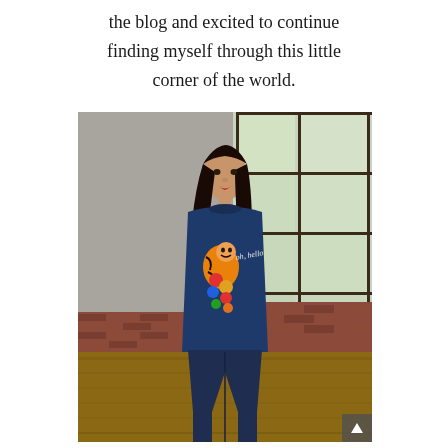the blog and excited to continue finding myself through this little corner of the world.
[Figure (photo): A young woman with long dark hair wearing a navy blue sweater with a colorful Tigger character graphic and script text, paired with dark jeans. She stands in an industrial loft space with large steel-framed windows and exposed brick walls. The floor is hardwood. Natural light comes from the windows behind her.]